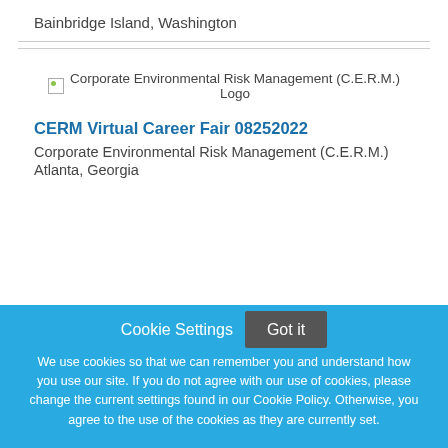Bainbridge Island, Washington
[Figure (logo): Corporate Environmental Risk Management (C.E.R.M.) Logo — broken image placeholder with alt text]
CERM Virtual Career Fair 08252022
Corporate Environmental Risk Management (C.E.R.M.)
Atlanta, Georgia
Cookie Settings
Got it
We use cookies so that we can remember you and understand how you use our site. If you do not agree with our use of cookies, please change the current settings found in our Cookie Policy. Otherwise, you agree to the use of the cookies as they are currently set.